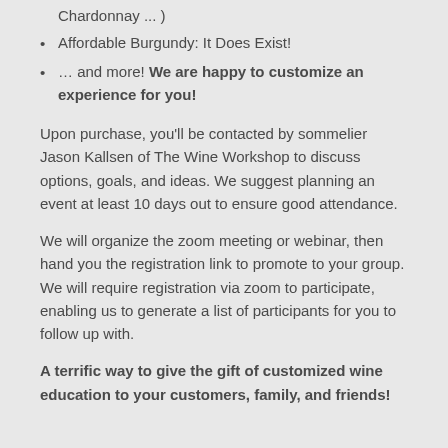Chardonnay ... )
Affordable Burgundy: It Does Exist!
… and more! We are happy to customize an experience for you!
Upon purchase, you'll be contacted by sommelier Jason Kallsen of The Wine Workshop to discuss options, goals, and ideas. We suggest planning an event at least 10 days out to ensure good attendance.
We will organize the zoom meeting or webinar, then hand you the registration link to promote to your group. We will require registration via zoom to participate, enabling us to generate a list of participants for you to follow up with.
A terrific way to give the gift of customized wine education to your customers, family, and friends!